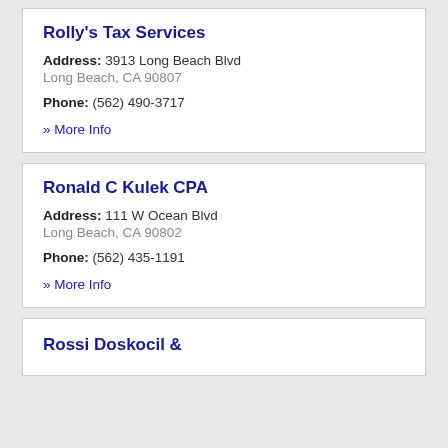Rolly's Tax Services
Address: 3913 Long Beach Blvd
Long Beach, CA 90807
Phone: (562) 490-3717
» More Info
Ronald C Kulek CPA
Address: 111 W Ocean Blvd
Long Beach, CA 90802
Phone: (562) 435-1191
» More Info
Rossi Doskocil &